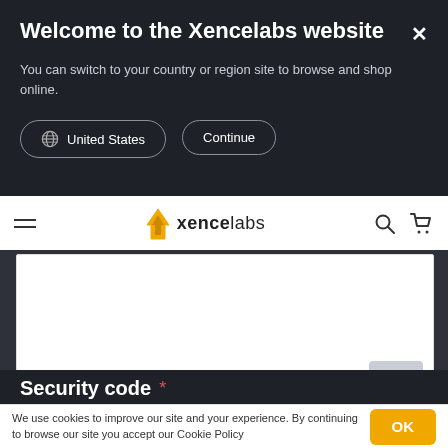Welcome to the Xencelabs website
You can switch to your country or region site to browse and shop online.
United States
Continue
[Figure (screenshot): Xencelabs website navigation bar with hamburger menu, Xencelabs logo (flame icon), search icon, and cart icon]
[Figure (screenshot): White content area box with dark background and scroll-to-top button]
Security code *
We use cookies to improve our site and your experience. By continuing to browse our site you accept our Cookie Policy
OK